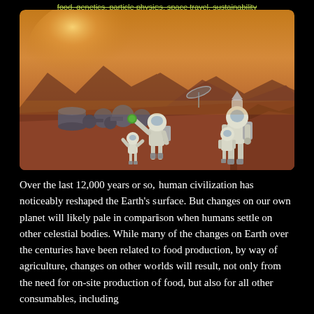food, genetics, particle physics, space travel, sustainability
[Figure (illustration): Concept art of a Mars colony scene showing astronauts and children in spacesuits on the Martian surface with habitat modules, a satellite dish, and a rocket in the background under an orange-brown sky.]
Over the last 12,000 years or so, human civilization has noticeably reshaped the Earth's surface. But changes on our own planet will likely pale in comparison when humans settle on other celestial bodies. While many of the changes on Earth over the centuries have been related to food production, by way of agriculture, changes on other worlds will result, not only from the need for on-site production of food, but also for all other consumables, including